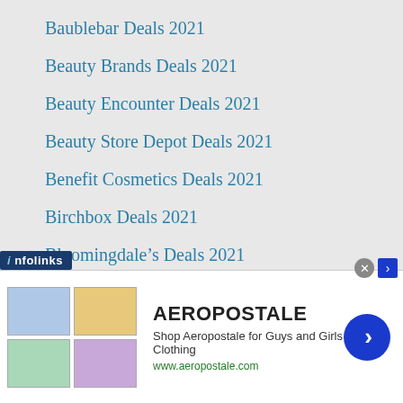Baublebar Deals 2021
Beauty Brands Deals 2021
Beauty Encounter Deals 2021
Beauty Store Depot Deals 2021
Benefit Cosmetics Deals 2021
Birchbox Deals 2021
Bloomingdale’s Deals 2021
Carol’s Daughter Deals 2021
Clinique GWP Deals 2021
Contact
Deals Too Good to Pass Up
Tree Deals 2021
[Figure (screenshot): Infolinks advertisement banner for Aeropostale showing clothing images, brand name, tagline 'Shop Aeropostale for Guys and Girls Clothing', URL www.aeropostale.com, close button, and navigation arrow]